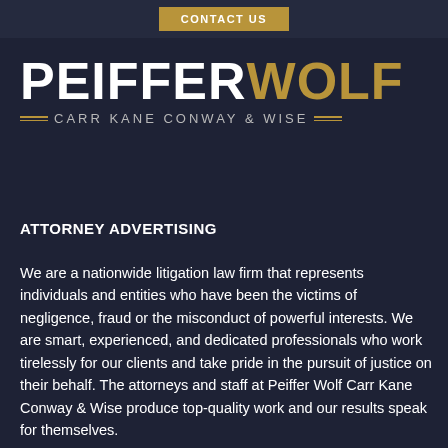[Figure (logo): Peiffer Wolf Carr Kane Conway & Wise law firm logo on dark navy background]
ATTORNEY ADVERTISING
We are a nationwide litigation law firm that represents individuals and entities who have been the victims of negligence, fraud or the misconduct of powerful interests. We are smart, experienced, and dedicated professionals who work tirelessly for our clients and take pride in the pursuit of justice on their behalf. The attorneys and staff at Peiffer Wolf Carr Kane Conway & Wise produce top-quality work and our results speak for themselves.